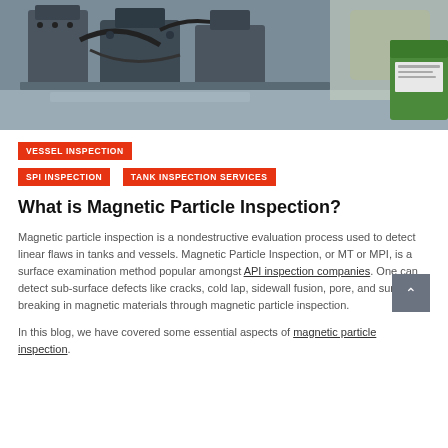[Figure (photo): Industrial magnetic particle inspection equipment being operated by a worker in protective gloves on a metal surface]
VESSEL INSPECTION
SPI INSPECTION   TANK INSPECTION SERVICES
What is Magnetic Particle Inspection?
Magnetic particle inspection is a nondestructive evaluation process used to detect linear flaws in tanks and vessels. Magnetic Particle Inspection, or MT or MPI, is a surface examination method popular amongst API inspection companies. One can detect sub-surface defects like cracks, cold lap, sidewall fusion, pore, and surface breaking in magnetic materials through magnetic particle inspection.
In this blog, we have covered some essential aspects of magnetic particle inspection.